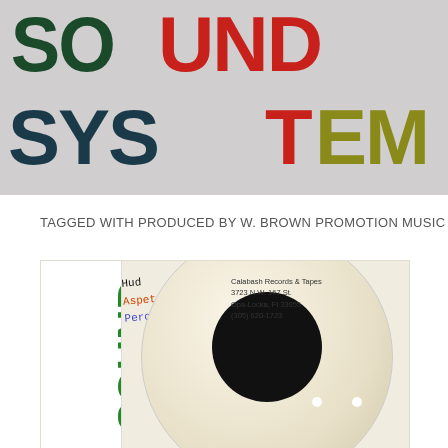[Figure (photo): Hand-lettered sign spelling SOUND SYSTEM with letters in different colors: SOUND in dark green and red, SYS in dark blue/teal, T in red, EM in olive/yellow-green on a grey background]
TAGGED WITH PRODUCED BY W. BROWN PROMOTION MUSIC
[Figure (photo): A white vinyl record with a plain black label center and two spindle holes, overlapping a white sleeve. Handwritten text reads Hud, Aspet, Peros Sound. A sticker on the record reads: Calabash Records & Tapes, 3723 N.W. 167 St., Opa-Locka, Fl 33055, (305) 620-1723]